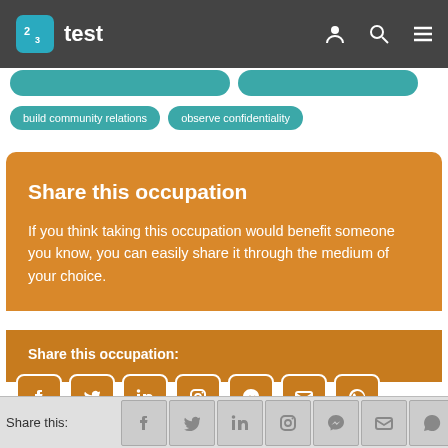123test
build community relations   observe confidentiality
Share this occupation
If you think taking this occupation would benefit someone you know, you can easily share it through the medium of your choice.
Share this occupation:
[Figure (infographic): Social media sharing icons: Facebook, Twitter, LinkedIn, Instagram, Messenger, Email, WhatsApp]
Share this: